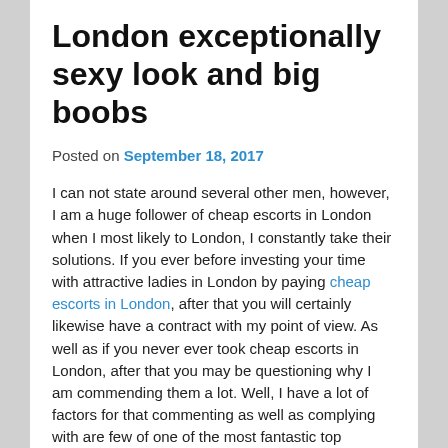London exceptionally sexy look and big boobs
Posted on September 18, 2017
I can not state around several other men, however, I am a huge follower of cheap escorts in London when I most likely to London, I constantly take their solutions. If you ever before investing your time with attractive ladies in London by paying cheap escorts in London, after that you will certainly likewise have a contract with my point of view. As well as if you never ever took cheap escorts in London, after that you may be questioning why I am commending them a lot. Well, I have a lot of factors for that commenting as well as complying with are few of one of the most fantastic top qualities that I constantly discover while dating cheap as well as sexy cheap escorts in London as my buddy.
[Figure (photo): Partial image of a woman visible at the bottom of the page]